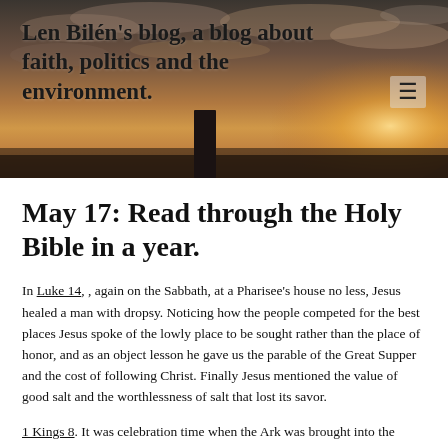Len Bilén's blog, a blog about faith, politics and the environment.
May 17: Read through the Holy Bible in a year.
In Luke 14, , again on the Sabbath, at a Pharisee's house no less, Jesus healed a man with dropsy. Noticing how the people competed for the best places Jesus spoke of the lowly place to be sought rather than the place of honor, and as an object lesson he gave us the parable of the Great Supper and the cost of following Christ. Finally Jesus mentioned the value of good salt and the worthlessness of salt that lost its savor.
1 Kings 8. It was celebration time when the Ark was brought into the Temple, Solomon gave a great speech and a prayer of